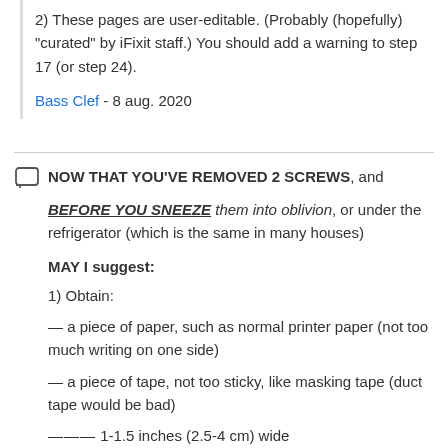2) These pages are user-editable. (Probably (hopefully) "curated" by iFixit staff.) You should add a warning to step 17 (or step 24).
Bass Clef - 8 aug. 2020
NOW THAT YOU'VE REMOVED 2 SCREWS, and BEFORE YOU SNEEZE them into oblivion, or under the refrigerator (which is the same in many houses)
MAY I suggest:
1) Obtain:
— a piece of paper, such as normal printer paper (not too much writing on one side)
— a piece of tape, not too sticky, like masking tape (duct tape would be bad)
——— 1-1.5 inches (2.5-4 cm) wide